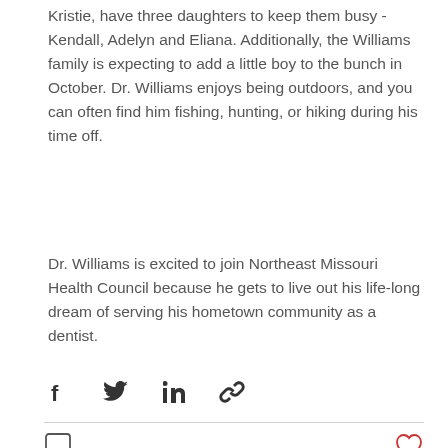Kristie, have three daughters to keep them busy - Kendall, Adelyn and Eliana. Additionally, the Williams family is expecting to add a little boy to the bunch in October. Dr. Williams enjoys being outdoors, and you can often find him fishing, hunting, or hiking during his time off.
Dr. Williams is excited to join Northeast Missouri Health Council because he gets to live out his life-long dream of serving his hometown community as a dentist.
[Figure (other): Social share icons: Facebook, Twitter, LinkedIn, link]
[Figure (other): Comment icon (left) and heart/like icon in red (right)]